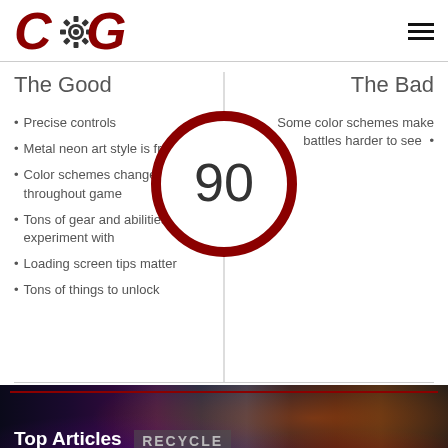[Figure (logo): COGconnected logo: red C, gear, red G letters]
The Good
The Bad
Precise controls
Metal neon art style is fresh
Color schemes change throughout game
Tons of gear and abilities to experiment with
Loading screen tips matter
Tons of things to unlock
Some color schemes make battles harder to see
[Figure (other): Score circle showing 90 in dark red ring]
[Figure (photo): Bottom banner showing Top Articles by COGconnected over a dark cyberpunk city scene]